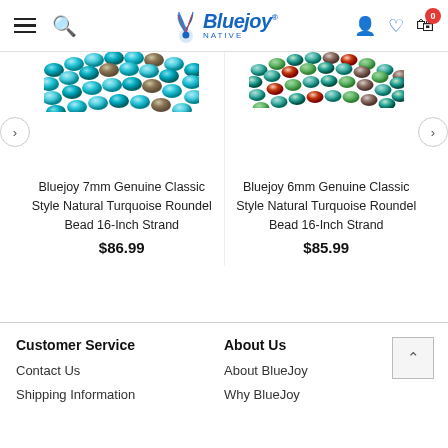Bluejoy Native — navigation header with hamburger menu, search, logo, user, wishlist, cart (0)
[Figure (photo): Partial view of turquoise rondelle bead strand for Bluejoy 7mm product]
Bluejoy 7mm Genuine Classic Style Natural Turquoise Roundel Bead 16-Inch Strand
$86.99
[Figure (photo): Partial view of turquoise rondelle bead strand for Bluejoy 6mm product]
Bluejoy 6mm Genuine Classic Style Natural Turquoise Roundel Bead 16-Inch Strand
$85.99
Customer Service
Contact Us
Shipping Information
About Us
About BlueJoy
Why BlueJoy